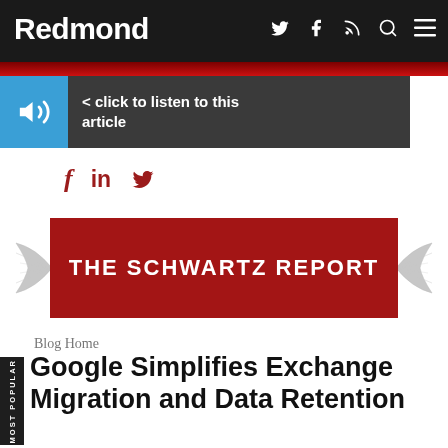Redmond
< click to listen to this article
[Figure (other): Social media share icons: Facebook, LinkedIn, Twitter in dark red]
[Figure (other): The Schwartz Report banner — red rectangle with white bold text, decorative wings on either side]
Blog Home
Google Simplifies Exchange Migration and Data Retention
[Figure (photo): Bottom partial image — blue background with envelope/mail graphic in the lower portion of the page]